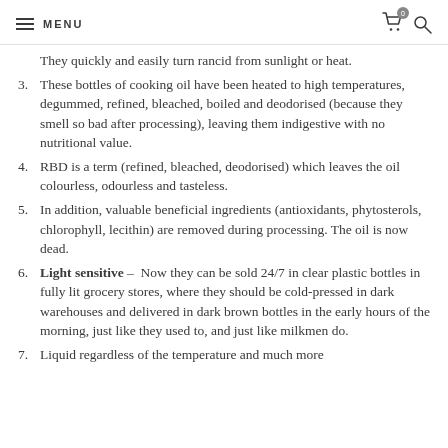MENU
They quickly and easily turn rancid from sunlight or heat.
3. These bottles of cooking oil have been heated to high temperatures, degummed, refined, bleached, boiled and deodorised (because they smell so bad after processing), leaving them indigestive with no nutritional value.
4. RBD is a term (refined, bleached, deodorised) which leaves the oil colourless, odourless and tasteless.
5. In addition, valuable beneficial ingredients (antioxidants, phytosterols, chlorophyll, lecithin) are removed during processing. The oil is now dead.
6. Light sensitive - Now they can be sold 24/7 in clear plastic bottles in fully lit grocery stores, where they should be cold-pressed in dark warehouses and delivered in dark brown bottles in the early hours of the morning, just like they used to, and just like milkmen do.
7. Liquid regardless of the temperature and much more